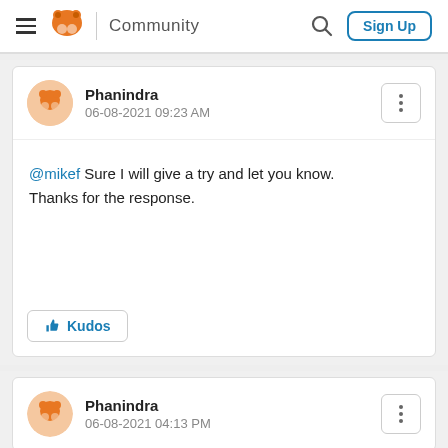Community | Sign Up
Phanindra
06-08-2021 09:23 AM
@mikef Sure I will give a try and let you know. Thanks for the response.
Kudos
Phanindra
06-08-2021 04:13 PM